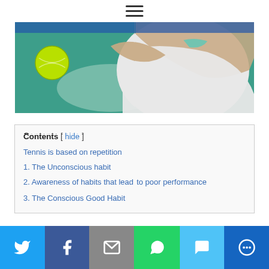[Figure (photo): Tennis player hitting a ball, wearing white shirt, green tennis ball visible on left, teal/green background]
Contents [ hide ]
Tennis is based on repetition
1. The Unconscious habit
2. Awareness of habits that lead to poor performance
3. The Conscious Good Habit
[Figure (infographic): Social sharing bar with Twitter, Facebook, Email, WhatsApp, SMS, and More buttons]